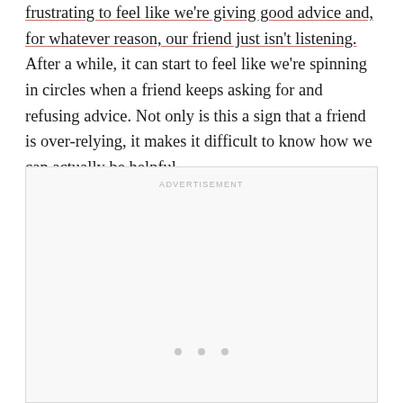frustrating to feel like we're giving good advice and, for whatever reason, our friend just isn't listening. After a while, it can start to feel like we're spinning in circles when a friend keeps asking for and refusing advice. Not only is this a sign that a friend is over-relying, it makes it difficult to know how we can actually be helpful.
[Figure (other): Advertisement placeholder box with 'ADVERTISEMENT' label at top center and three dots near the bottom center.]